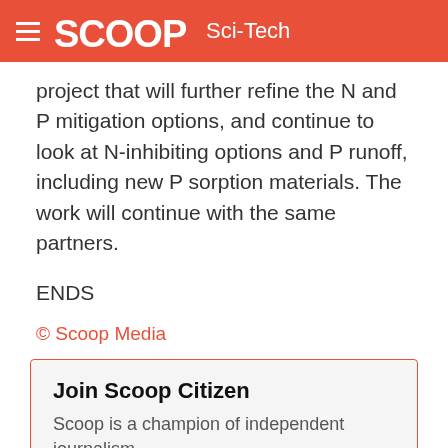SCOOP Sci-Tech
project that will further refine the N and P mitigation options, and continue to look at N-inhibiting options and P runoff, including new P sorption materials. The work will continue with the same partners.
ENDS
© Scoop Media
Join Scoop Citizen
Scoop is a champion of independent journalism